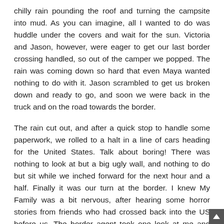chilly rain pounding the roof and turning the campsite into mud. As you can imagine, all I wanted to do was huddle under the covers and wait for the sun. Victoria and Jason, however, were eager to get our last border crossing handled, so out of the camper we popped. The rain was coming down so hard that even Maya wanted nothing to do with it. Jason scrambled to get us broken down and ready to go, and soon we were back in the truck and on the road towards the border.
The rain cut out, and after a quick stop to handle some paperwork, we rolled to a halt in a line of cars heading for the United States. Talk about boring! There was nothing to look at but a big ugly wall, and nothing to do but sit while we inched forward for the next hour and a half. Finally it was our turn at the border. I knew My Family was a bit nervous, after hearing some horror stories from friends who had crossed back into the US before us. The border agent took one look at me and broke out into a big smile. They didn't have any problem with Maya coming home with us, and only seemed to be concerned about fruit. Five minutes